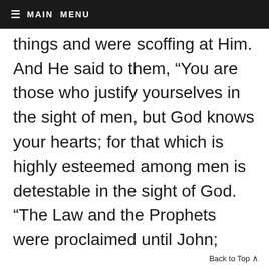≡ MAIN MENU
things and were scoffing at Him. And He said to them, “You are those who justify yourselves in the sight of men, but God knows your hearts; for that which is highly esteemed among men is detestable in the sight of God. “The Law and the Prophets were proclaimed until John; since that time the gospel of the kingdom of God has been preached, and everyone is
Back to Top ∧